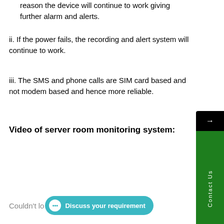reason the device will continue to work giving further alarm and alerts.
ii. If the power fails, the recording and alert system will continue to work.
iii. The SMS and phone calls are SIM card based and not modem based and hence more reliable.
Video of server room monitoring system:
Couldn't lo…
[Figure (screenshot): Discuss your requirement button (teal/cyan rounded button with chat icon)]